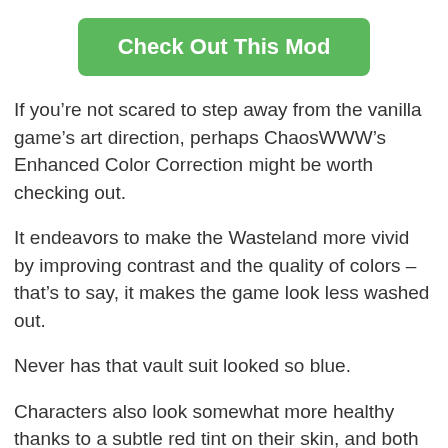[Figure (other): Green button with white bold text reading 'Check Out This Mod']
If you’re not scared to step away from the vanilla game’s art direction, perhaps ChaosWWW’s Enhanced Color Correction might be worth checking out.
It endeavors to make the Wasteland more vivid by improving contrast and the quality of colors – that’s to say, it makes the game look less washed out.
Never has that vault suit looked so blue.
Characters also look somewhat more healthy thanks to a subtle red tint on their skin, and both shadows and highlights have more impact on the game’s look.